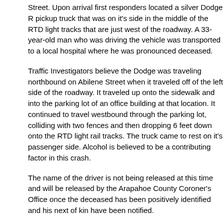Street.  Upon arrival first responders located a silver Dodge R pickup truck that was on it's side in the middle of the RTD light tracks that are just west of the roadway.  A 33-year-old man was driving the vehicle was transported to a local hospital where he was pronounced deceased.
Traffic Investigators believe the Dodge was traveling northbound on Abilene Street when it traveled off of the left side of the roadway. It traveled up onto the sidewalk and into the parking lot of an office building at that location. It continued to travel westbound through the parking lot, colliding with two fences and then dropping 6 feet down onto the RTD light rail tracks.  The truck came to rest on it's passenger side.  Alcohol is believed to be a contributing factor in this crash.
The name of the driver is not being released at this time and will be released by the Arapahoe County Coroner's Office once the deceased has been positively identified and his next of kin have been notified.
Lieutenant Chris Amsler
Public Information Officer
Media Relations Unit